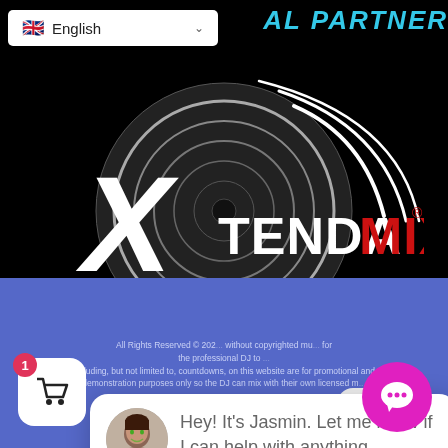[Figure (screenshot): XtendaMix Official Partner website screenshot showing language selector (English with UK flag), XtendaMix logo with Official Partner text, a chat widget from Jasmin, footer with copyright text and links, cart button, and chat button]
English
AL PARTNER
[Figure (logo): XtendaMix Official Partner logo — white X with vinyl record graphic, red text MIX, red text OFFICIAL PARTNER]
close
Hey! It's Jasmin. Let me know if I can help with anything.
All Rights Reserved © 202... without copyrighted mu... for the professional DJ to... including, but not limited to, countdowns, on this website are for promotional and demonstration purposes only so the DJ can mix with their own licensed m...
Terms & Conditions   Privacy & Policy